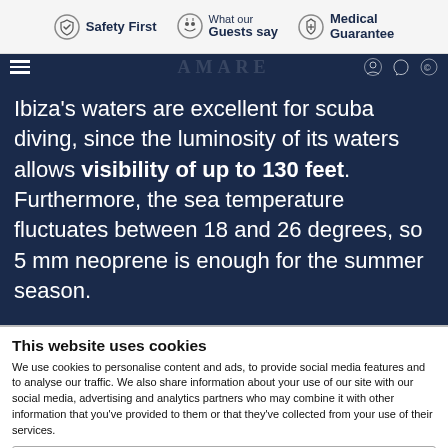Safety First | What our Guests say | Medical Guarantee
Ibiza's waters are excellent for scuba diving, since the luminosity of its waters allows visibility of up to 130 feet. Furthermore, the sea temperature fluctuates between 18 and 26 degrees, so 5 mm neoprene is enough for the summer season.
This website uses cookies
We use cookies to personalise content and ads, to provide social media features and to analyse our traffic. We also share information about your use of our site with our social media, advertising and analytics partners who may combine it with other information that you've provided to them or that they've collected from your use of their services.
Necessary (checked), Preferences, Statistics, Marketing, Show details
Allow selection | Agree all